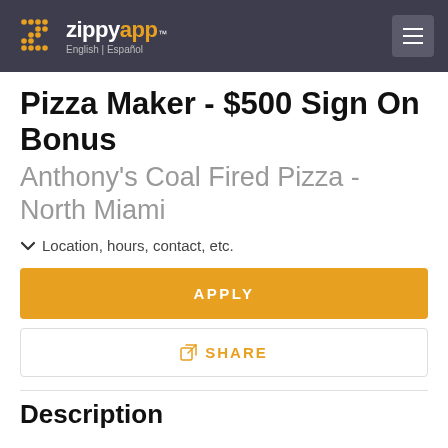ZippyApp™ English | Español
Pizza Maker - $500 Sign On Bonus
Anthony's Coal Fired Pizza - North Miami
Location, hours, contact, etc.
APPLY
SHARE
Description